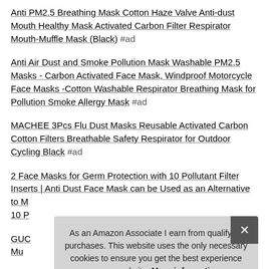Anti PM2.5 Breathing Mask Cotton Haze Valve Anti-dust Mouth Healthy Mask Activated Carbon Filter Respirator Mouth-Muffle Mask (Black) #ad
Anti Air Dust and Smoke Pollution Mask Washable PM2.5 Masks - Carbon Activated Face Mask, Windproof Motorcycle Face Masks -Cotton Washable Respirator Breathing Mask for Pollution Smoke Allergy Mask #ad
MACHEE 3Pcs Flu Dust Masks Reusable Activated Carbon Cotton Filters Breathable Safety Respirator for Outdoor Cycling Black #ad
2 Face Masks for Germ Protection with 10 Pollutant Filter Inserts | Anti Dust Face Mask can be Used as an Alternative to M... 10 P...
GUC... Mu...
20 Pollutant Filter Inserts for Face Masks for Germ Protection
As an Amazon Associate I earn from qualifying purchases. This website uses the only necessary cookies to ensure you get the best experience on our website. More information